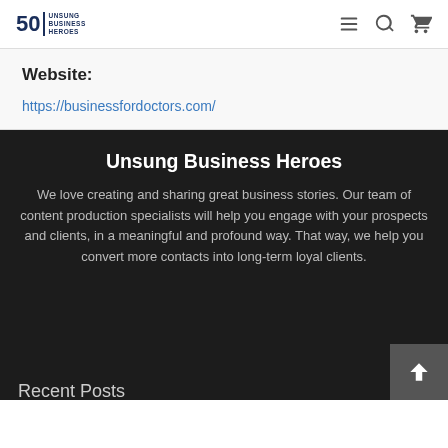50 Unsung Business Heroes [nav: menu, search, cart icons]
Website:
https://businessfordoctors.com/
Unsung Business Heroes
We love creating and sharing great business stories. Our team of content production specialists will help you engage with your prospects and clients, in a meaningful and profound way. That way, we help you convert more contacts into long-term loyal clients.
Recent Posts